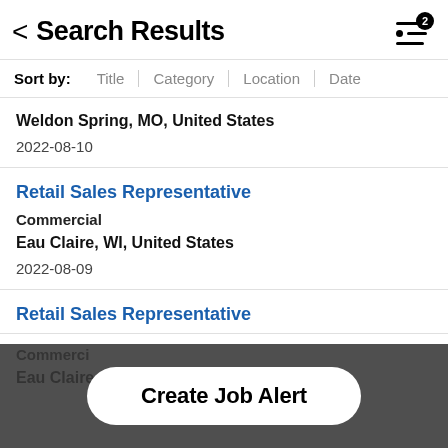Search Results
Sort by: Title | Category | Location | Date
Weldon Spring, MO, United States
2022-08-10
Retail Sales Representative
Commercial
Eau Claire, WI, United States
2022-08-09
Retail Sales Representative
Commercial
Eau Claire, WI
Create Job Alert